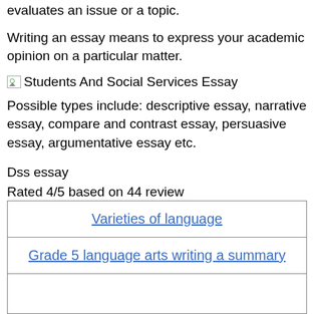evaluates an issue or a topic.
Writing an essay means to express your academic opinion on a particular matter.
[Figure (photo): Broken image placeholder labeled 'Students And Social Services Essay']
Possible types include: descriptive essay, narrative essay, compare and contrast essay, persuasive essay, argumentative essay etc.
Dss essay
Rated 4/5 based on 44 review
| Varieties of language |
| Grade 5 language arts writing a summary |
|  |